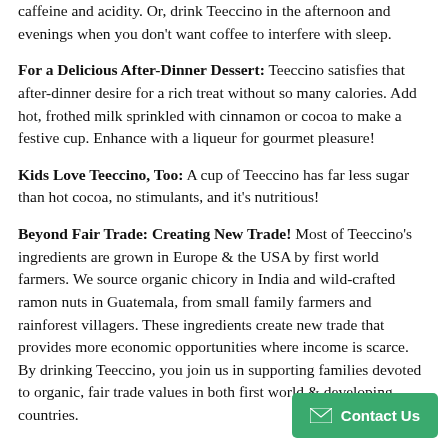caffeine and acidity. Or, drink Teeccino in the afternoon and evenings when you don't want coffee to interfere with sleep.
For a Delicious After-Dinner Dessert: Teeccino satisfies that after-dinner desire for a rich treat without so many calories. Add hot, frothed milk sprinkled with cinnamon or cocoa to make a festive cup. Enhance with a liqueur for gourmet pleasure!
Kids Love Teeccino, Too: A cup of Teeccino has far less sugar than hot cocoa, no stimulants, and it's nutritious!
Beyond Fair Trade: Creating New Trade! Most of Teeccino's ingredients are grown in Europe & the USA by first world farmers. We source organic chicory in India and wild-crafted ramon nuts in Guatemala, from small family farmers and rainforest villagers. These ingredients create new trade that provides more economic opportunities where income is scarce. By drinking Teeccino, you join us in supporting families devoted to organic, fair trade values in both first world & developing countries.